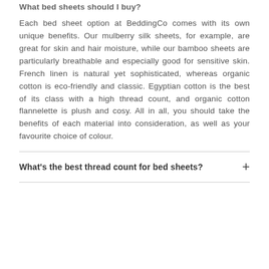What bed sheets should I buy?
Each bed sheet option at BeddingCo comes with its own unique benefits. Our mulberry silk sheets, for example, are great for skin and hair moisture, while our bamboo sheets are particularly breathable and especially good for sensitive skin. French linen is natural yet sophisticated, whereas organic cotton is eco-friendly and classic. Egyptian cotton is the best of its class with a high thread count, and organic cotton flannelette is plush and cosy. All in all, you should take the benefits of each material into consideration, as well as your favourite choice of colour.
What's the best thread count for bed sheets?